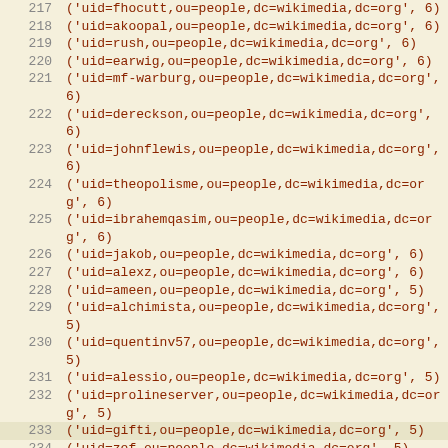Code listing lines 217-240 showing LDAP uid entries with dc=wikimedia,dc=org and numeric values
| line | content |
| --- | --- |
| 217 | ('uid=fhocutt,ou=people,dc=wikimedia,dc=org', 6) |
| 218 | ('uid=akoopal,ou=people,dc=wikimedia,dc=org', 6) |
| 219 | ('uid=rush,ou=people,dc=wikimedia,dc=org', 6) |
| 220 | ('uid=earwig,ou=people,dc=wikimedia,dc=org', 6) |
| 221 | ('uid=mf-warburg,ou=people,dc=wikimedia,dc=org', 6) |
| 222 | ('uid=dereckson,ou=people,dc=wikimedia,dc=org', 6) |
| 223 | ('uid=johnflewis,ou=people,dc=wikimedia,dc=org', 6) |
| 224 | ('uid=theopolisme,ou=people,dc=wikimedia,dc=org', 6) |
| 225 | ('uid=ibrahemqasim,ou=people,dc=wikimedia,dc=org', 6) |
| 226 | ('uid=jakob,ou=people,dc=wikimedia,dc=org', 6) |
| 227 | ('uid=alexz,ou=people,dc=wikimedia,dc=org', 6) |
| 228 | ('uid=ameen,ou=people,dc=wikimedia,dc=org', 5) |
| 229 | ('uid=alchimista,ou=people,dc=wikimedia,dc=org', 5) |
| 230 | ('uid=quentinv57,ou=people,dc=wikimedia,dc=org', 5) |
| 231 | ('uid=alessio,ou=people,dc=wikimedia,dc=org', 5) |
| 232 | ('uid=prolineserver,ou=people,dc=wikimedia,dc=org', 5) |
| 233 | ('uid=gifti,ou=people,dc=wikimedia,dc=org', 5) |
| 234 | ('uid=zef,ou=people,dc=wikimedia,dc=org', 5) |
| 235 | ('uid=kevinpayravi,ou=people,dc=wikimedia,dc=org', 5) |
| 236 | ('uid=zppix1,ou=people,dc=wikimedia,dc=org', 5) |
| 237 | ('uid=smith609,ou=people,dc=wikimedia,dc=org', 5) |
| 238 | ('uid=outreachy-megha,ou=people,dc=wikimedia,dc=org', 5) |
| 239 | ('uid=sitic,ou=people,dc=wikimedia,dc=org', 5) |
| 240 | ('uid=darkdadaah,ou=people,dc=wikimedia,dc=org', 5) |